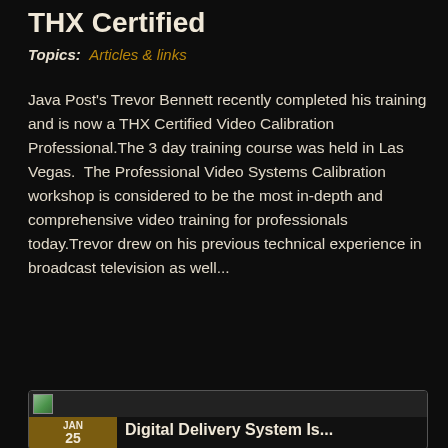THX Certified
Topics: Articles & links
Java Post's Trevor Bennett recently completed his training and is now a THX Certified Video Calibration Professional.The 3 day training course was held in Las Vegas.  The Professional Video Systems Calibration workshop is considered to be the most in-depth and comprehensive video training for professionals today.Trevor drew on his previous technical experience in broadcast television as well...
+ FULL POST
JAN 25 Digital Delivery System Is...